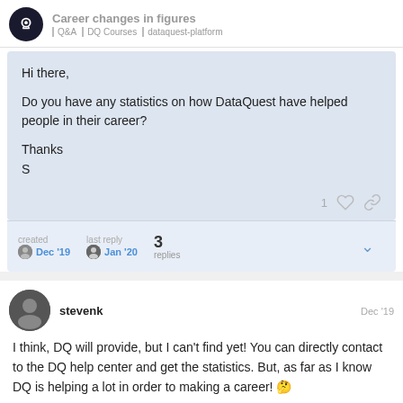Career changes in figures | Q&A | DQ Courses | dataquest-platform
Hi there,

Do you have any statistics on how DataQuest have helped people in their career?

Thanks
S
1 [like] [link]
created  Dec '19   last reply  Jan '20   3 replies
stevenk  Dec '19

I think, DQ will provide, but I can't find yet! You can directly contact to the DQ help center and get the statistics. But, as far as I know DQ is helping a lot in order to making a career! 🤔